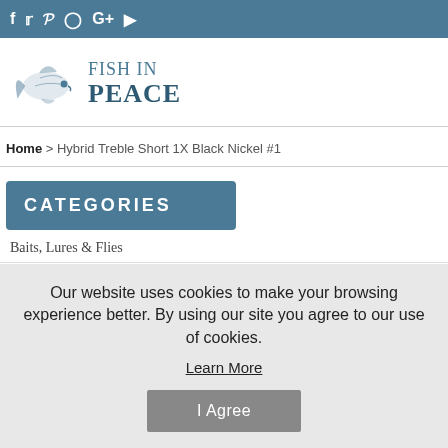f  Twitter  Pinterest  Instagram  G+  YouTube (social icons bar)
[Figure (logo): Fish in Peace logo: fish illustration with text FISH IN PEACE]
Home > Hybrid Treble Short 1X Black Nickel #1
CATEGORIES
Baits, Lures & Flies
Our website uses cookies to make your browsing experience better. By using our site you agree to our use of cookies. Learn More
I Agree